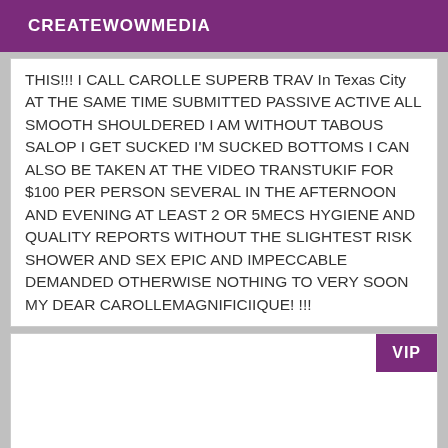CREATEWOWMEDIA
THIS!!! I CALL CAROLLE SUPERB TRAV In Texas City AT THE SAME TIME SUBMITTED PASSIVE ACTIVE ALL SMOOTH SHOULDERED I AM WITHOUT TABOUS SALOP I GET SUCKED I'M SUCKED BOTTOMS I CAN ALSO BE TAKEN AT THE VIDEO TRANSTUKIF FOR $100 PER PERSON SEVERAL IN THE AFTERNOON AND EVENING AT LEAST 2 OR 5MECS HYGIENE AND QUALITY REPORTS WITHOUT THE SLIGHTEST RISK SHOWER AND SEX EPIC AND IMPECCABLE DEMANDED OTHERWISE NOTHING TO VERY SOON MY DEAR CAROLLEMAGNIFICIIQUE! !!!
[Figure (other): White card with VIP badge in top right corner]